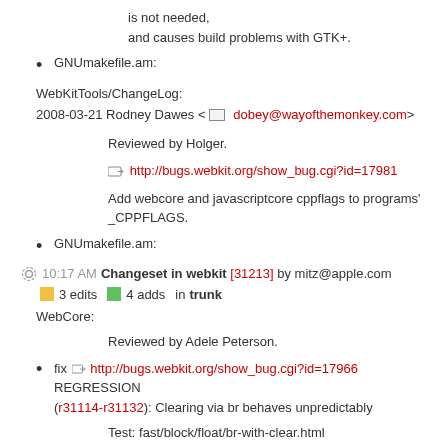is not needed,
and causes build problems with GTK+.
GNUmakefile.am:
WebKitTools/ChangeLog:
2008-03-21 Rodney Dawes <dobey@wayofthemonkey.com>
Reviewed by Holger.
http://bugs.webkit.org/show_bug.cgi?id=17981
Add webcore and javascriptcore cppflags to programs'
_CPPFLAGS.
GNUmakefile.am:
10:17 AM Changeset in webkit [31213] by mitz@apple.com
3 edits   4 adds   in trunk
WebCore:
Reviewed by Adele Peterson.
fix http://bugs.webkit.org/show_bug.cgi?id=17966 REGRESSION (r31114-r31132): Clearing via br behaves unpredictably
Test: fast/block/float/br-with-clear.html
rendering/bidi.cpp: (WebCore::RenderBlock::layoutInlineChildren): Fixed the logic for the very special case of an all-lines-clean block that ends